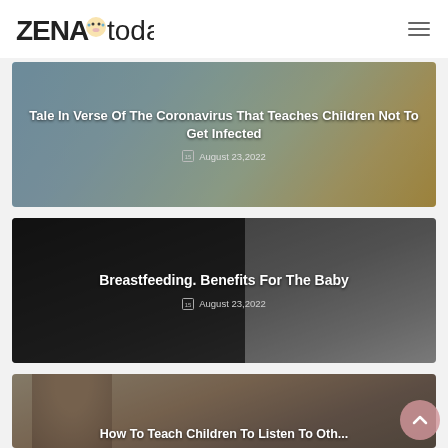ZENA today
[Figure (photo): Article card with cartoon coronavirus illustration showing children and a virus character, with title overlay]
Tale In Verse Of The Coronavirus That Teaches Children Not To Get Infected
August 23,2022
[Figure (photo): Article card showing a dark photo of a woman breastfeeding with title overlay]
Breastfeeding. Benefits For The Baby
August 23,2022
[Figure (photo): Article card showing a partial photo of a child with title partially visible]
How To Teach Children To Listen To Oth...